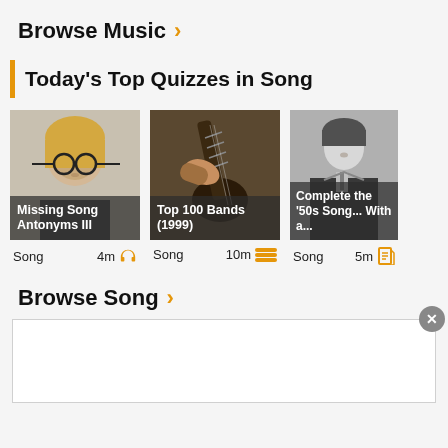Browse Music ›
Today's Top Quizzes in Song
[Figure (screenshot): Three quiz cards: 'Missing Song Antonyms III' (Song, 4m, headphone icon), 'Top 100 Bands (1999)' (Song, 10m, bars icon), 'Complete the '50s Song... With a...' (Song, 5m, page icon). Each card has a thumbnail image.]
Browse Song ›
[Figure (other): Advertisement box with close (x) button]